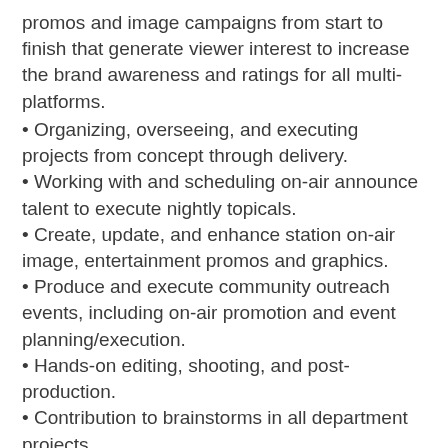promos and image campaigns from start to finish that generate viewer interest to increase the brand awareness and ratings for all multi-platforms.
• Organizing, overseeing, and executing projects from concept through delivery.
• Working with and scheduling on-air announce talent to execute nightly topicals.
• Create, update, and enhance station on-air image, entertainment promos and graphics.
• Produce and execute community outreach events, including on-air promotion and event planning/execution.
• Hands-on editing, shooting, and post-production.
• Contribution to brainstorms in all department projects.
• In-person attendance is required